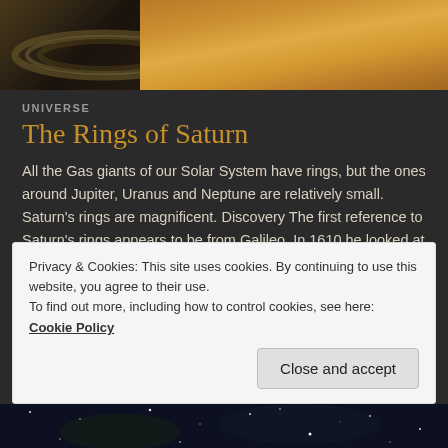[Figure (photo): Top portion showing Saturn with rings on the left side (dark brown/black) and Saturn's surface on the right (golden/amber color)]
UNIVERSE
The Rings of Saturn
All the Gas giants of our Solar System have rings, but the ones around Jupiter, Uranus and Neptune are relatively small. Saturn's rings are magnificent. Discovery The first reference to Saturn's rings appears to be from Galileo. In 1610 he looked at Saturn through his telescope. He was puzzled by what he saw. He described the rings variously as ears, handles and arms. He said … Continue reading
Privacy & Cookies: This site uses cookies. By continuing to use this website, you agree to their use.
To find out more, including how to control cookies, see here: Cookie Policy
[Figure (photo): Bottom strip showing a starfield/galaxy background in dark blue and black with stars]